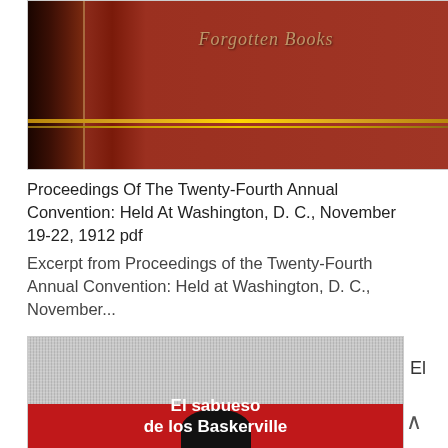[Figure (photo): Dark red leather book cover with 'Forgotten Books' text in gold italic script, spine visible on left side with gold horizontal stripes near bottom]
Proceedings Of The Twenty-Fourth Annual Convention: Held At Washington, D. C., November 19-22, 1912 pdf
Excerpt from Proceedings of the Twenty-Fourth Annual Convention: Held at Washington, D. C., November...
[Figure (photo): Book cover showing grey textile pattern on top half and red background on bottom half with 'El sabueso de los Baskerville' text in white bold font, black silhouette at bottom]
El